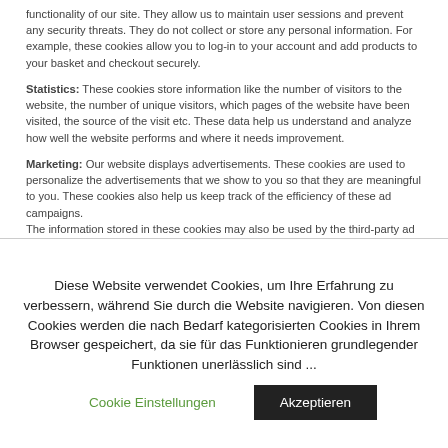functionality of our site. They allow us to maintain user sessions and prevent any security threats. They do not collect or store any personal information. For example, these cookies allow you to log-in to your account and add products to your basket and checkout securely.
Statistics: These cookies store information like the number of visitors to the website, the number of unique visitors, which pages of the website have been visited, the source of the visit etc. These data help us understand and analyze how well the website performs and where it needs improvement.
Marketing: Our website displays advertisements. These cookies are used to personalize the advertisements that we show to you so that they are meaningful to you. These cookies also help us keep track of the efficiency of these ad campaigns.
The information stored in these cookies may also be used by the third-party ad providers to show you ads on other websites on the browser as well.
Diese Website verwendet Cookies, um Ihre Erfahrung zu verbessern, während Sie durch die Website navigieren. Von diesen Cookies werden die nach Bedarf kategorisierten Cookies in Ihrem Browser gespeichert, da sie für das Funktionieren grundlegender Funktionen unerlässlich sind ...
Cookie Einstellungen
Akzeptieren